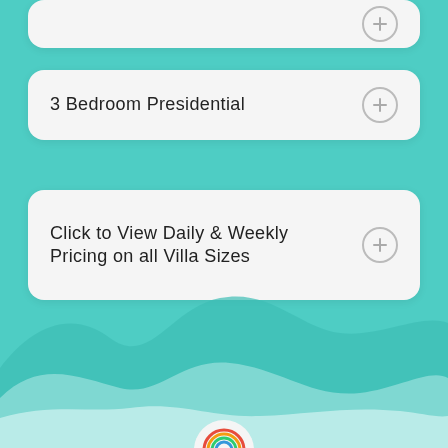3 Bedroom Presidential
Click to View Daily & Weekly Pricing on all Villa Sizes
[Figure (illustration): Teal/turquoise background with decorative wave hills at the bottom in lighter teal tones, and a partial circular logo at the very bottom center]